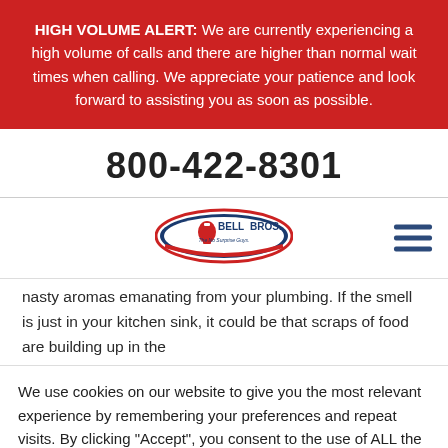HIGH VOLUME ALERT: We are currently experiencing a high volume of calls and there are higher than normal wait times when calling. We appreciate your patience and look forward to assisting you as soon as possible.
800-422-8301
[Figure (logo): Bell Bros. logo — oval shape with red and blue colors, company name inside]
nasty aromas emanating from your plumbing. If the smell is just in your kitchen sink, it could be that scraps of food are building up in the
We use cookies on our website to give you the most relevant experience by remembering your preferences and repeat visits. By clicking "Accept", you consent to the use of ALL the cookies.
Cookie settings
ACCEPT